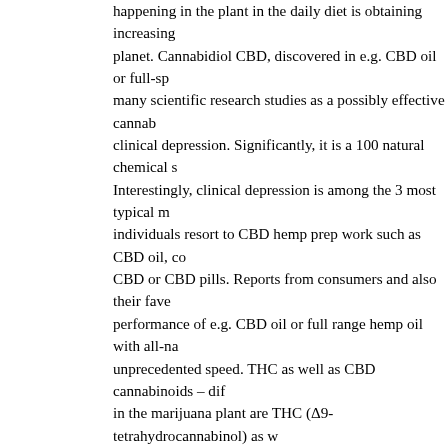happening in the plant in the daily diet is obtaining increasing planet. Cannabidiol CBD, discovered in e.g. CBD oil or full-sp many scientific research studies as a possibly effective cannab clinical depression. Significantly, it is a 100 natural chemical s Interestingly, clinical depression is among the 3 most typical m individuals resort to CBD hemp prep work such as CBD oil, co CBD or CBD pills. Reports from consumers and also their fave performance of e.g. CBD oil or full range hemp oil with all-na unprecedented speed. THC as well as CBD cannabinoids – dif in the marijuana plant are THC (Δ9-tetrahydrocannabinol) as w They show antagonistic results, which indicates that CBD lowe are these impacts? THC has an intoxicating effect, creates a se cognitive functions, however also loosens up. Huge, regularly taken into consideration hazardous to the human brain. Extrem psychosis, absence of inspiration, and also long-term negative feature. Both THC and CBD impact the endocannabinoid syste as currently pointed out, is contradictory. Cbd-a-thc-in-the-end creating pictures, CBD decreases the depletion of anandamide this process. Nevertheless, this does not indicate that THC is ju well as should not be in the prep work in all. As a matter of fac preparations is even required in order to obtain the so-called re completely range hemp oil is present in such a limited and also This amount is so little (less than 0.2) that it does not trigger di THC and also CBD have greater possibility than either molecu anandamide (AEA)? What is its significance for individuals su